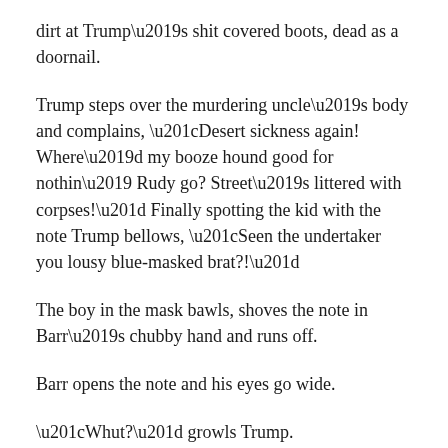dirt at Trump’s shit covered boots, dead as a doornail.
Trump steps over the murdering uncle’s body and complains, “Desert sickness again! Where’d my booze hound good for nothin’ Rudy go? Street’s littered with corpses!” Finally spotting the kid with the note Trump bellows, “Seen the undertaker you lousy blue-masked brat?!”
The boy in the mask bawls, shoves the note in Barr’s chubby hand and runs off.
Barr opens the note and his eyes go wide.
“Whut?” growls Trump.